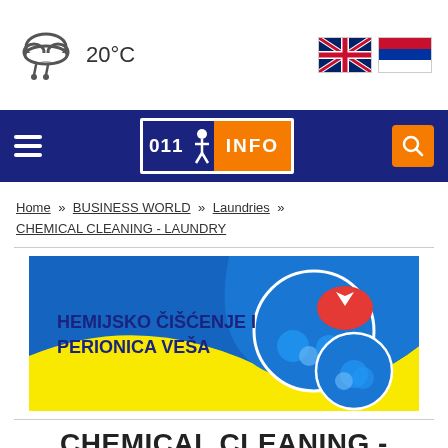20°C
[Figure (logo): 011 INFO website logo with navigation bar on dark navy blue background]
Home » BUSINESS WORLD » Laundries » CHEMICAL CLEANING - LAUNDRY
[Figure (illustration): Advertisement banner for HEMIJSKO ČIŠĆENJE I PERIONICA VEŠA (Chemical Cleaning and Laundry) with blue and yellow design, showing washing/cleaning graphics]
CHEMICAL CLEANING -